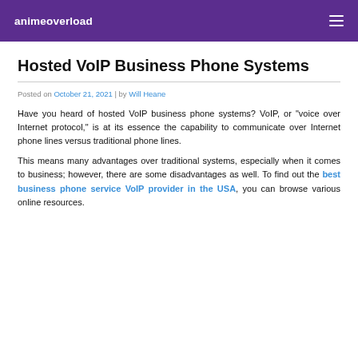animeoverload
Hosted VoIP Business Phone Systems
Posted on October 21, 2021 | by Will Heane
Have you heard of hosted VoIP business phone systems? VoIP, or "voice over Internet protocol," is at its essence the capability to communicate over Internet phone lines versus traditional phone lines.
This means many advantages over traditional systems, especially when it comes to business; however, there are some disadvantages as well. To find out the best business phone service VoIP provider in the USA, you can browse various online resources.